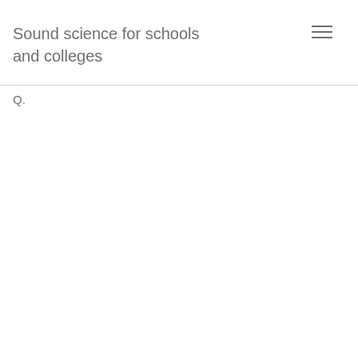Sound science for schools and colleges
Q.